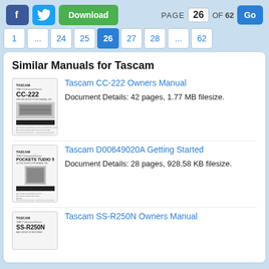PAGE 26 OF 62
Similar Manuals for Tascam
Tascam CC-222 Owners Manual
Document Details: 42 pages, 1.77 MB filesize.
Tascam D00649020A Getting Started
Document Details: 28 pages, 928.58 KB filesize.
Tascam SS-R250N Owners Manual